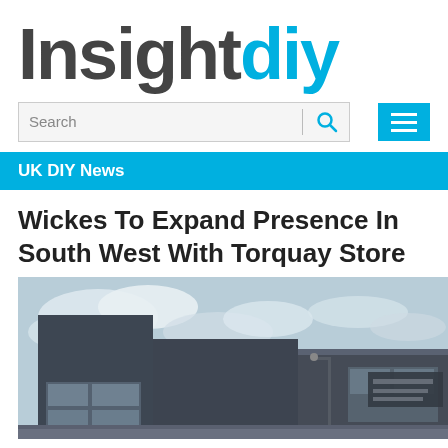Insightdiy
[Figure (screenshot): InsightDIY website screenshot showing logo, search bar, navigation menu button, UK DIY News section bar, article title 'Wickes To Expand Presence In South West With Torquay Store', and a photo of a modern dark-clad commercial building exterior]
UK DIY News
Wickes To Expand Presence In South West With Torquay Store